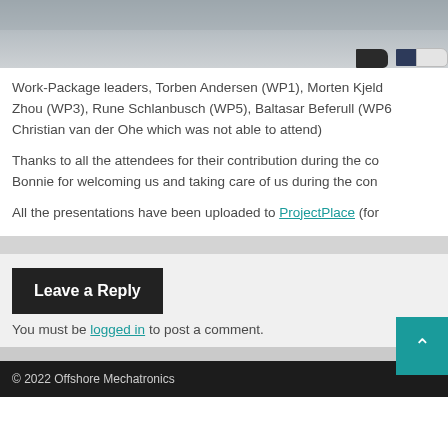[Figure (photo): Partial photo showing shoes/feet at top of page, cropped]
Work-Package leaders, Torben Andersen (WP1), Morten Kjeld... Zhou (WP3), Rune Schlanbusch (WP5), Baltasar Beferull (WP6... Christian van der Ohe which was not able to attend)
Thanks to all the attendees for their contribution during the co... Bonnie for welcoming us and taking care of us during the con...
All the presentations have been uploaded to ProjectPlace (for...
Leave a Reply
You must be logged in to post a comment.
© 2022 Offshore Mechatronics